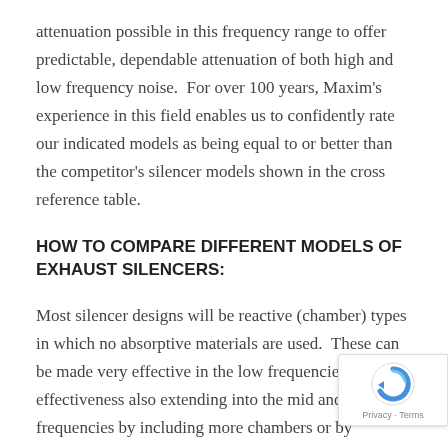attenuation possible in this frequency range to offer predictable, dependable attenuation of both high and low frequency noise.  For over 100 years, Maxim's experience in this field enables us to confidently rate our indicated models as being equal to or better than the competitor's silencer models shown in the cross reference table.
HOW TO COMPARE DIFFERENT MODELS OF EXHAUST SILENCERS:
Most silencer designs will be reactive (chamber) types in which no absorptive materials are used.  These can be made very effective in the low frequencies with effectiveness also extending into the mid and high frequencies by including more chambers or by incorporating special internal features. Reactive silencers